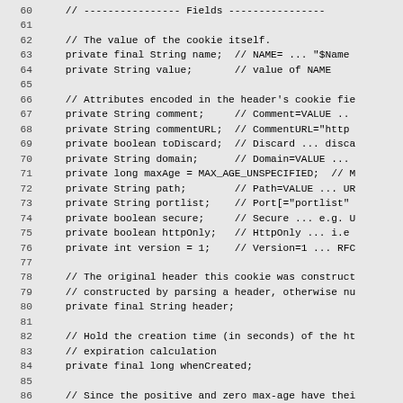Code listing lines 60-89: Java cookie class field declarations
60    // ---------------- Fields ----------------
61    (blank)
62    // The value of the cookie itself.
63    private final String name;  // NAME= ... "$Name"
64    private String value;       // value of NAME
65    (blank)
66    // Attributes encoded in the header's cookie fie
67    private String comment;     // Comment=VALUE ..
68    private String commentURL;  // CommentURL="http
69    private boolean toDiscard;  // Discard ... disca
70    private String domain;      // Domain=VALUE ...
71    private long maxAge = MAX_AGE_UNSPECIFIED;  // M
72    private String path;        // Path=VALUE ... UR
73    private String portlist;    // Port[="portlist"
74    private boolean secure;     // Secure ... e.g. U
75    private boolean httpOnly;   // HttpOnly ... i.e
76    private int version = 1;    // Version=1 ... RFC
77    (blank)
78    // The original header this cookie was construct
79    // constructed by parsing a header, otherwise nu
80    private final String header;
81    (blank)
82    // Hold the creation time (in seconds) of the ht
83    // expiration calculation
84    private final long whenCreated;
85    (blank)
86    // Since the positive and zero max-age have thei
87    // this value serves as a hint as 'not specify m
88    private static final long MAX_AGE_UNSPECIFIED =
89    (blank)